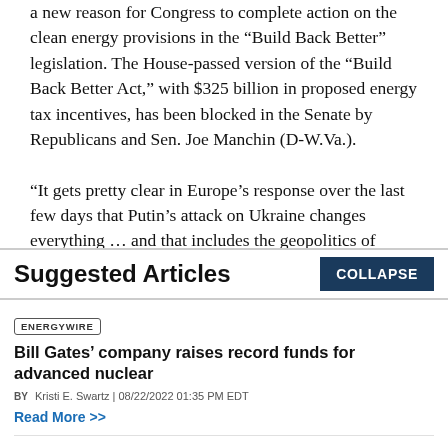a new reason for Congress to complete action on the clean energy provisions in the “Build Back Better” legislation. The House-passed version of the “Build Back Better Act,” with $325 billion in proposed energy tax incentives, has been blocked in the Senate by Republicans and Sen. Joe Manchin (D-W.Va.).

“It gets pretty clear in Europe’s response over the last few days that Putin’s attack on Ukraine changes everything … and that includes the geopolitics of energy,” said Jesse
Suggested Articles
COLLAPSE
ENERGYWIRE
Bill Gates’ company raises record funds for advanced nuclear
BY Kristi E. Swartz | 08/22/2022 01:35 PM EDT
Read More >>
ENERGYWIRE
Transformer shortage hits utilities in storm season